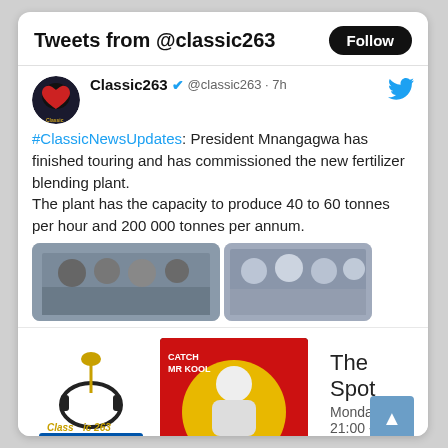Tweets from @classic263
[Figure (screenshot): Tweet from Classic263 (@classic263) 7h ago: #ClassicNewsUpdates: President Mnangagwa has finished touring and has commissioned the new fertilizer blending plant. The plant has the capacity to produce 40 to 60 tonnes per hour and 200 000 tonnes per annum. With two photos of people at the event.]
[Figure (screenshot): Bottom section showing Classic 263 radio logo, The Spot show image with CATCH MR KOOL text, and show info: The Spot, Monday, 21:00 - 00:00]